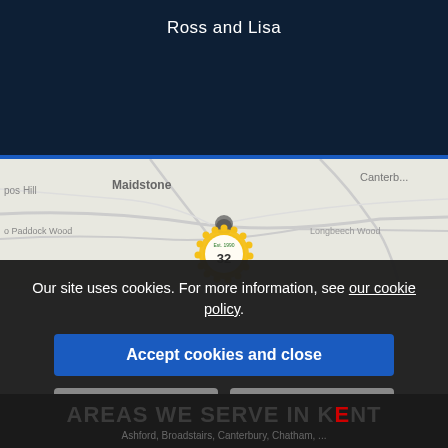Ross and Lisa
[Figure (map): A road map showing areas around Maidstone, Canterbury, Longbeech Wood, Paddock Wood in Kent, with a circular badge/logo marker in the centre.]
Our site uses cookies. For more information, see our cookie policy.
Accept cookies and close
Reject cookies
Manage settings
AREAS WE SERVE IN KENT
Ashford, Broadstairs, Canterbury, Chatham, ...